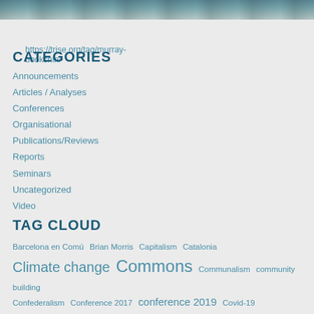[Figure (photo): Partial photograph at the top of the page showing an outdoor scene.]
https://trise.org/tag/murray-bookchin/
CATEGORIES
Announcements
Articles / Analyses
Conferences
Organisational
Publications/Reviews
Reports
Seminars
Uncategorized
Video
TAG CLOUD
Barcelona en Comú  Brian Morris  Capitalism  Catalonia  Climate change  Commons  Communalism  community building  Confederalism  Conference 2017  conference 2019  Covid-19  Dan Chodorkoff  De-growth  Democratic Confederalism